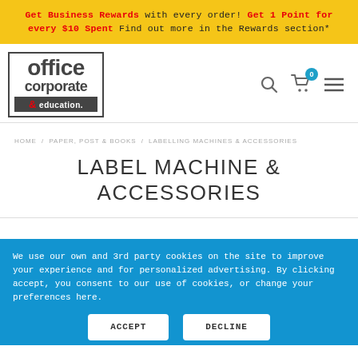Get Business Rewards with every order! Get 1 Point for every $10 Spent Find out more in the Rewards section*
[Figure (logo): Office Corporate & Education logo — text logo in a bordered box]
HOME / PAPER, POST & BOOKS / LABELLING MACHINES & ACCESSORIES
LABEL MACHINE & ACCESSORIES
We use our own and 3rd party cookies on the site to improve your experience and for personalized advertising. By clicking accept, you consent to our use of cookies, or change your preferences here.
ACCEPT   DECLINE